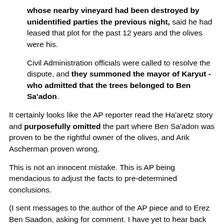whose nearby vineyard had been destroyed by unidentified parties the previous night, said he had leased that plot for the past 12 years and the olives were his.
Civil Administration officials were called to resolve the dispute, and they summoned the mayor of Karyut - who admitted that the trees belonged to Ben Sa'adon.
It certainly looks like the AP reporter read the Ha'aretz story and purposefully omitted the part where Ben Sa'adon was proven to be the rightful owner of the olives, and Arik Ascherman proven wrong.
This is not an innocent mistake. This is AP being mendacious to adjust the facts to pre-determined conclusions.
(I sent messages to the author of the AP piece and to Erez Ben Saadon, asking for comment. I have yet to hear back from them.)